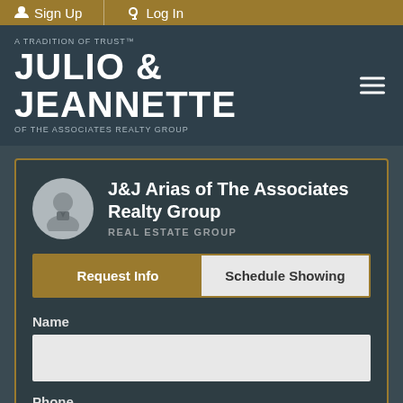Sign Up | Log In
[Figure (logo): Julio & Jeannette of The Associates Realty Group logo with tagline 'A Tradition of Trust']
J&J Arias of The Associates Realty Group
REAL ESTATE GROUP
Request Info
Schedule Showing
Name
Phone